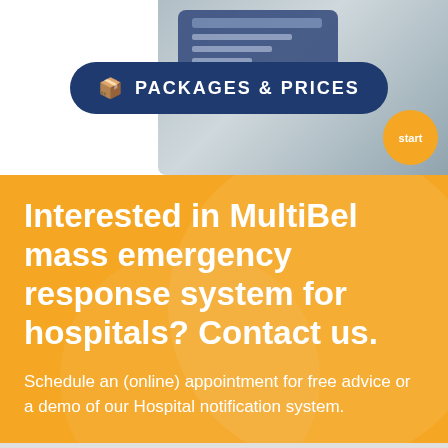[Figure (screenshot): Screenshot of MultiBel application cards/interface shown in upper right corner with blue card UI and orange circle with 'start' label]
PACKAGES & PRICES
Interested in MultiBel mass emergency response system for hospitals? Contact us.
Schedule an (online) appointment for free advice or a demo of our Hospital notification system.